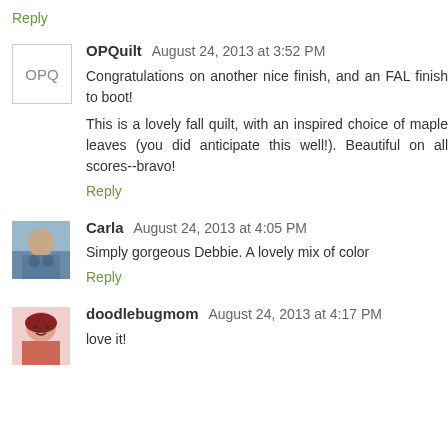Reply
OPQuilt  August 24, 2013 at 3:52 PM
Congratulations on another nice finish, and an FAL finish to boot!
This is a lovely fall quilt, with an inspired choice of maple leaves (you did anticipate this well!). Beautiful on all scores--bravo!
Reply
Carla  August 24, 2013 at 4:05 PM
Simply gorgeous Debbie. A lovely mix of color
Reply
doodlebugmom  August 24, 2013 at 4:17 PM
love it!